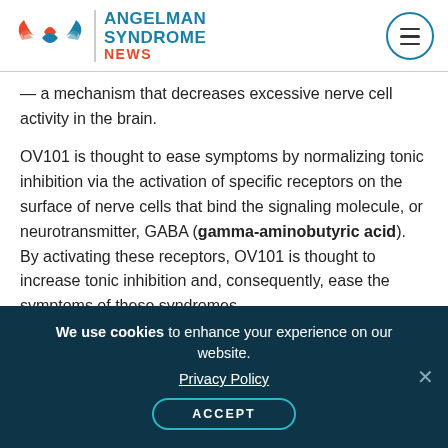Angelman Syndrome News
— a mechanism that decreases excessive nerve cell activity in the brain.
OV101 is thought to ease symptoms by normalizing tonic inhibition via the activation of specific receptors on the surface of nerve cells that bind the signaling molecule, or neurotransmitter, GABA (gamma-aminobutyric acid). By activating these receptors, OV101 is thought to increase tonic inhibition and, consequently, ease the symptoms of these syndromes.
The therapy was found to be safe and well-
We use cookies to enhance your experience on our website. Privacy Policy ACCEPT